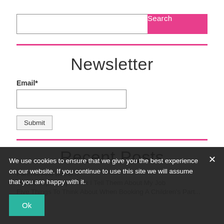Search [input] [Search button]
Newsletter
Email*
Submit
Recent Posts
We use cookies to ensure that we give you the best experience on our website. If you continue to use this site we will assume that you are happy with it.
Ok